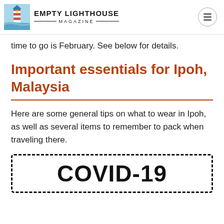EMPTY LIGHTHOUSE MAGAZINE
time to go is February. See below for details.
Important essentials for Ipoh, Malaysia
Here are some general tips on what to wear in Ipoh, as well as several items to remember to pack when traveling there.
[Figure (other): Dashed-border box containing large bold text 'COVID-19']